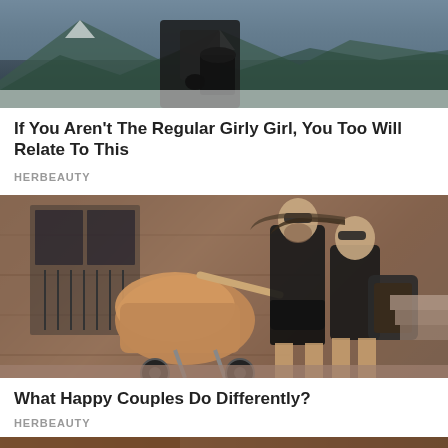[Figure (photo): Person in black jacket outdoors in snowy mountain setting]
If You Aren't The Regular Girly Girl, You Too Will Relate To This
HERBEAUTY
[Figure (photo): Happy couple kissing while pushing a baby stroller outside a building]
What Happy Couples Do Differently?
HERBEAUTY
[Figure (photo): Partial photo at bottom of page]